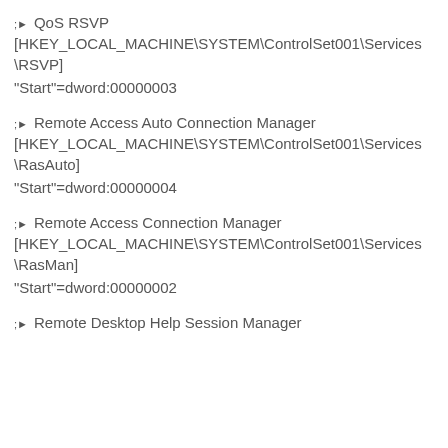► QoS RSVP
[HKEY_LOCAL_MACHINE\SYSTEM\ControlSet001\Services\RSVP]
"Start"=dword:00000003
► Remote Access Auto Connection Manager
[HKEY_LOCAL_MACHINE\SYSTEM\ControlSet001\Services\RasAuto]
"Start"=dword:00000004
► Remote Access Connection Manager
[HKEY_LOCAL_MACHINE\SYSTEM\ControlSet001\Services\RasMan]
"Start"=dword:00000002
► Remote Desktop Help Session Manager